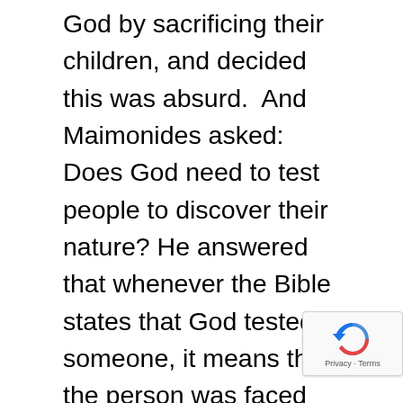God by sacrificing their children, and decided this was absurd.  And Maimonides asked: Does God need to test people to discover their nature? He answered that whenever the Bible states that God tested someone, it means that the person was faced with a struggle, suffering, and doubt and had to make a decision; the person was being tested by nature, not God. If people could find meaning in the struggle and devote themselves to the discovered purpose, they will have passed the test. Abraham passed the test by realizing that true love of God is demonstrated by respecting everything that created and working to improve himself and society.